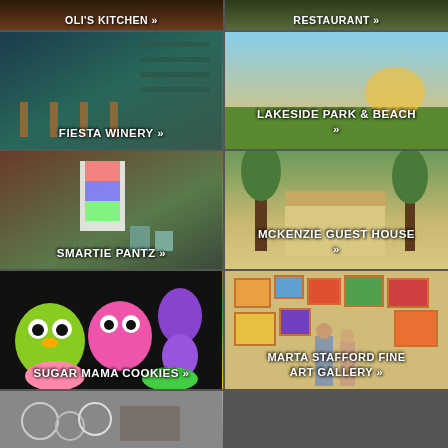[Figure (photo): OLI'S KITCHEN - restaurant interior photo, partial top]
[Figure (photo): RESTAURANT - food photo, partial top]
[Figure (photo): FIESTA WINERY - wine bar interior with colorful shelving and bar stools]
[Figure (photo): LAKESIDE PARK & BEACH - two people sitting on grass by a lake at sunset]
[Figure (photo): SMARTIE PANTZ - outdoor market with colorful clothing and pottery]
[Figure (photo): MCKENZIE GUEST HOUSE - exterior view of guest house through trees]
[Figure (photo): SUGAR MAMA COOKIES - colorful decorated cookies shaped like owls and butterflies]
[Figure (photo): MARTA STAFFORD FINE ART GALLERY - people viewing art on gallery walls]
[Figure (photo): Bottom partial image - jewelry/items display]